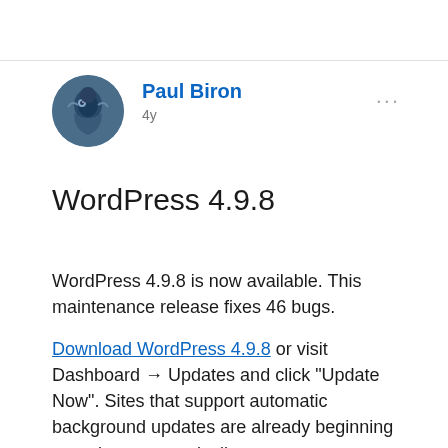Paul Biron
4y
WordPress 4.9.8
WordPress 4.9.8 is now available. This maintenance release fixes 46 bugs.
Download WordPress 4.9.8 or visit Dashboard → Updates and click “Update Now”. Sites that support automatic background updates are already beginning to update automatically.
Thank you to everyone who contributed to WordPress 4.9.8: